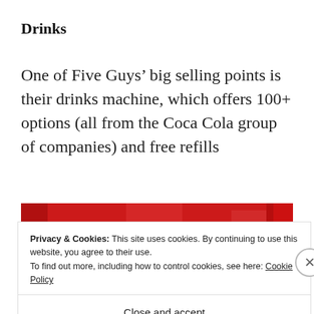Drinks
One of Five Guys’ big selling points is their drinks machine, which offers 100+ options (all from the Coca Cola group of companies) and free refills
[Figure (photo): Partial view of a red Coca Cola drinks machine, partially obscured by a cookie consent overlay banner.]
Privacy & Cookies: This site uses cookies. By continuing to use this website, you agree to their use.
To find out more, including how to control cookies, see here: Cookie Policy
Close and accept